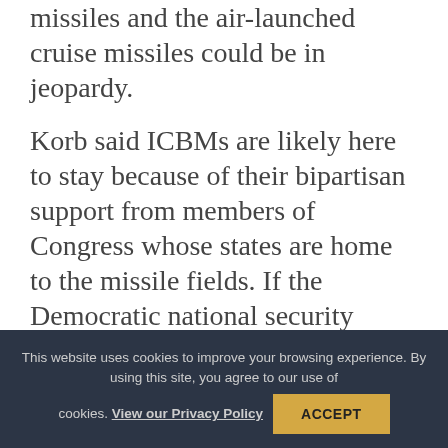missiles and the air-launched cruise missiles could be in jeopardy.
Korb said ICBMs are likely here to stay because of their bipartisan support from members of Congress whose states are home to the missile fields. If the Democratic national security establishment wanted to change course on ICBMs, they would have done it during the Obama years, Harrison noted.
“They studied it and they considered it and
This website uses cookies to improve your browsing experience. By using this site, you agree to our use of cookies. View our Privacy Policy ACCEPT